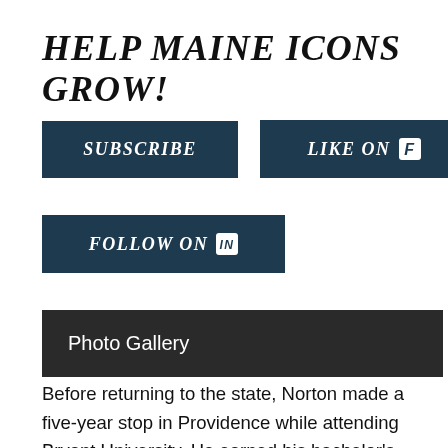HELP MAINE ICONS GROW!
SUBSCRIBE
LIKE ON
FOLLOW ON
Photo Gallery
Before returning to the state, Norton made a five-year stop in Providence while attending Bryant University. He earned his bachelor's degree in accounting and his MBA, which Norton